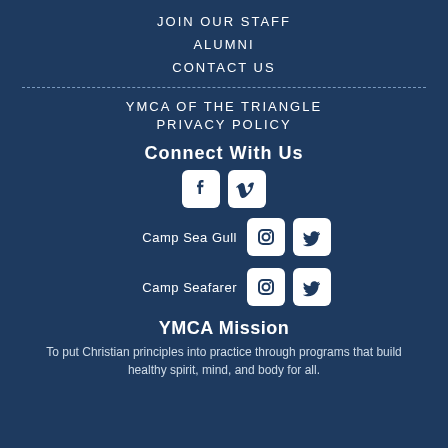JOIN OUR STAFF
ALUMNI
CONTACT US
YMCA OF THE TRIANGLE PRIVACY POLICY
Connect With Us
[Figure (infographic): Social media icons: Facebook and Vimeo rounded square buttons in white on dark blue background]
Camp Sea Gull
[Figure (infographic): Camp Sea Gull social media icons: Instagram and Twitter rounded square buttons]
Camp Seafarer
[Figure (infographic): Camp Seafarer social media icons: Instagram and Twitter rounded square buttons]
YMCA Mission
To put Christian principles into practice through programs that build healthy spirit, mind, and body for all.